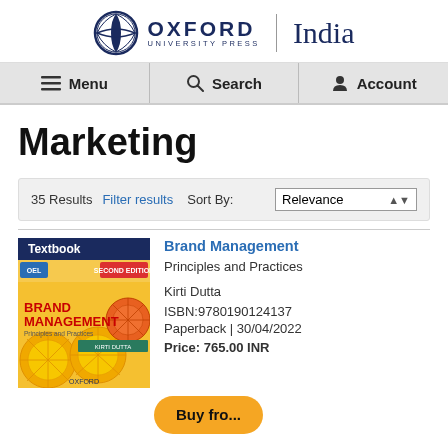Oxford University Press India — Navigation: Menu, Search, Account
Marketing
35 Results   Filter results   Sort By:   Relevance
[Figure (logo): Oxford University Press India logo with circular emblem, 'OXFORD UNIVERSITY PRESS' text and 'India' in large serif font]
Textbook
[Figure (illustration): Brand Management textbook cover with orange/lemon citrus design and red 'BRAND MANAGEMENT Principles and Practices' text by Kirti Dutta]
Brand Management
Principles and Practices
Kirti Dutta
ISBN:9780190124137
Paperback | 30/04/2022
Price: 765.00 INR